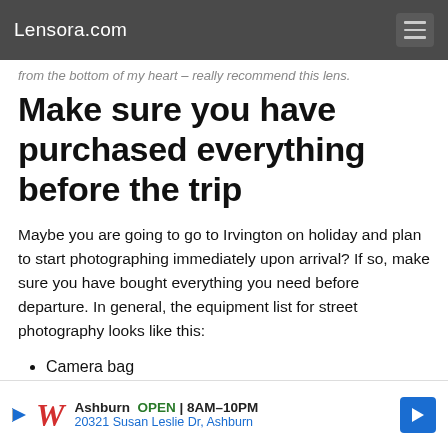Lensora.com
from the bottom of my heart – really recommend this lens.
Make sure you have purchased everything before the trip
Maybe you are going to go to Irvington on holiday and plan to start photographing immediately upon arrival? If so, make sure you have bought everything you need before departure. In general, the equipment list for street photography looks like this:
Camera bag
Extra battery
Extra memory card
Cleaning cloth
Comfortable shoulder strap
[Figure (screenshot): Walgreens advertisement banner showing Ashburn store open 8AM-10PM at 20321 Susan Leslie Dr, Ashburn]